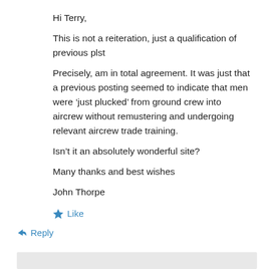Hi Terry,
This is not a reiteration, just a qualification of previous plst
Precisely, am in total agreement. It was just that a previous posting seemed to indicate that men were ‘just plucked’ from ground crew into aircrew without remustering and undergoing relevant aircrew trade training.
Isn’t it an absolutely wonderful site?
Many thanks and best wishes
John Thorpe
★ Like
↳ Reply